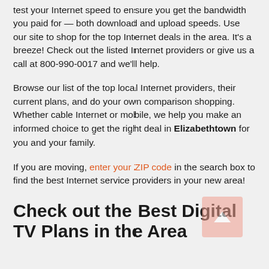test your Internet speed to ensure you get the bandwidth you paid for — both download and upload speeds. Use our site to shop for the top Internet deals in the area. It's a breeze! Check out the listed Internet providers or give us a call at 800-990-0017 and we'll help.
Browse our list of the top local Internet providers, their current plans, and do your own comparison shopping. Whether cable Internet or mobile, we help you make an informed choice to get the right deal in Elizabethtown for you and your family.
If you are moving, enter your ZIP code in the search box to find the best Internet service providers in your new area!
Check out the Best Digital TV Plans in the Area